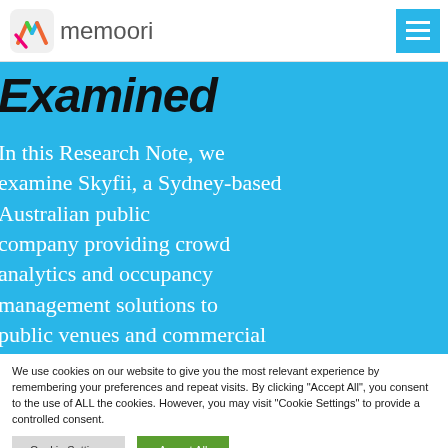memoori
Examined
In this Research Note, we examine Skyfii, a Sydney-based Australian public company providing crowd analytics and occupancy management solutions to public venues and commercial
We use cookies on our website to give you the most relevant experience by remembering your preferences and repeat visits. By clicking "Accept All", you consent to the use of ALL the cookies. However, you may visit "Cookie Settings" to provide a controlled consent.